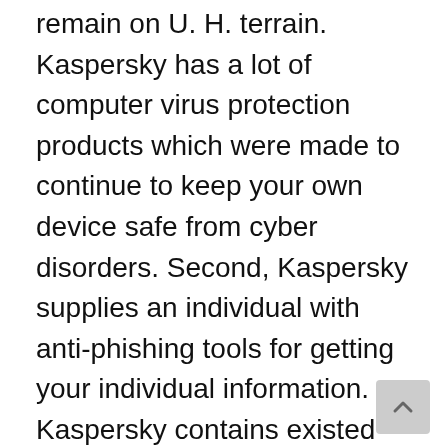remain on U. H. terrain. Kaspersky has a lot of computer virus protection products which were made to continue to keep your own device safe from cyber disorders. Second, Kaspersky supplies an individual with anti-phishing tools for getting your individual information. Kaspersky contains existed for over 15 many years and continues to generate great antivirus computer software. As an extra bonus, Kaspersky is a fantastic cost, too. As a more added bonus, Kaspersky is a wonderful price, too.